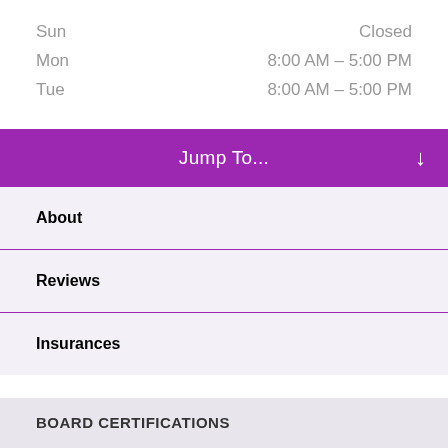Sun	Closed
Mon	8:00 AM – 5:00 PM
Tue	8:00 AM – 5:00 PM
Jump To...
About
Reviews
Insurances
BOARD CERTIFICATIONS